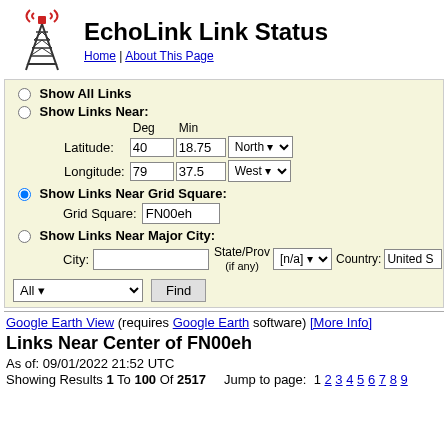[Figure (logo): EchoLink tower logo with red signal waves on top]
EchoLink Link Status
Home | About This Page
Show All Links
Show Links Near:
Latitude: 40 Deg 18.75 Min North
Longitude: 79 Deg 37.5 Min West
Show Links Near Grid Square:
Grid Square: FN00eh
Show Links Near Major City:
City: State/Prov (if any) [n/a] Country: United S
All Find
Google Earth View (requires Google Earth software) [More Info]
Links Near Center of FN00eh
As of: 09/01/2022 21:52 UTC
Showing Results 1 To 100 Of 2517    Jump to page:  1  2  3  4  5  6  7  8  9